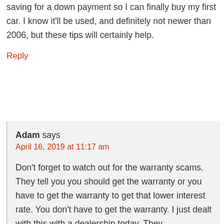saving for a down payment so I can finally buy my first car. I know it'll be used, and definitely not newer than 2006, but these tips will certainly help.
Reply
Adam says
April 16, 2019 at 11:17 am
Don't forget to watch out for the warranty scams. They tell you you should get the warranty or you have to get the warranty to get that lower interest rate. You don't have to get the warranty. I just dealt with this with a dealership today. They